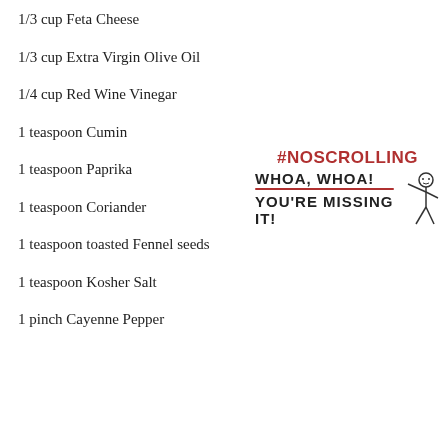1/3 cup Feta Cheese
1/3 cup Extra Virgin Olive Oil
1/4 cup Red Wine Vinegar
1 teaspoon Cumin
1 teaspoon Paprika
1 teaspoon Coriander
1 teaspoon toasted Fennel seeds
1 teaspoon Kosher Salt
1 pinch Cayenne Pepper
[Figure (illustration): #NOSCROLLING promo illustration with text WHOA, WHOA! YOU'RE MISSING IT! and a stick figure character]